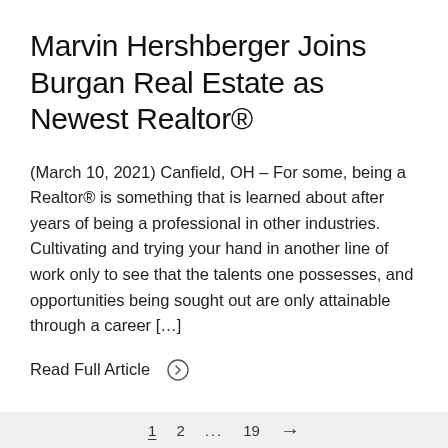Marvin Hershberger Joins Burgan Real Estate as Newest Realtor®
(March 10, 2021) Canfield, OH – For some, being a Realtor® is something that is learned about after years of being a professional in other industries. Cultivating and trying your hand in another line of work only to see that the talents one possesses, and opportunities being sought out are only attainable through a career […]
Read Full Article ›
1  2  …  19  →